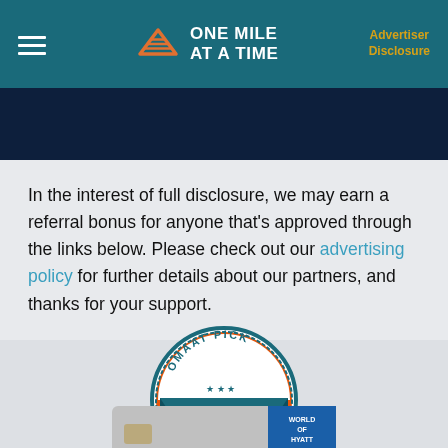ONE MILE AT A TIME — Advertiser Disclosure
In the interest of full disclosure, we may earn a referral bonus for anyone that's approved through the links below. Please check out our advertising policy for further details about our partners, and thanks for your support.
[Figure (logo): OMAAT Pick badge with Free Hotel Night ribbon and One Mile at a Time logo icon, orange and teal colors]
[Figure (photo): World of Hyatt credit card partial view at bottom of page]